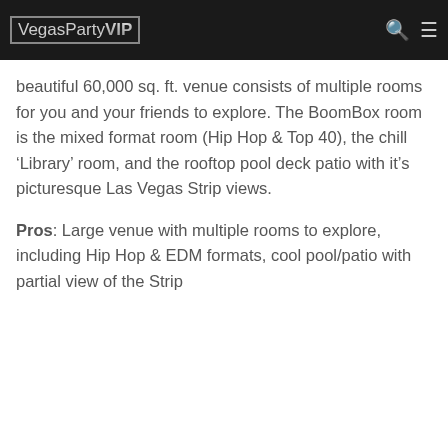VegasParty VIP
beautiful 60,000 sq. ft. venue consists of multiple rooms for you and your friends to explore. The BoomBox room is the mixed format room (Hip Hop & Top 40), the chill ‘Library’ room, and the rooftop pool deck patio with it’s picturesque Las Vegas Strip views.
Pros: Large venue with multiple rooms to explore, including Hip Hop & EDM formats, cool pool/patio with partial view of the Strip